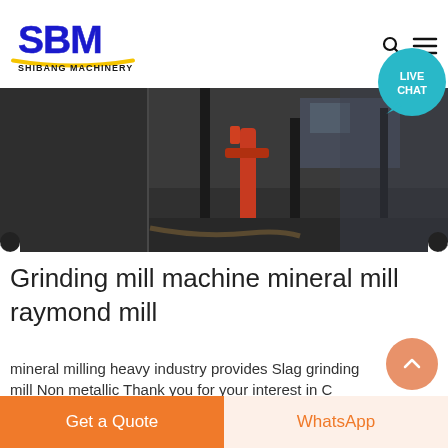SBM SHIBANG MACHINERY
[Figure (photo): Industrial grinding mill machinery in a dark factory setting, split panel view showing dark concrete wall on left and industrial equipment with red hydraulic arm on right]
Grinding mill machine mineral mill raymond mill
mineral milling heavy industry provides Slag grinding mill Non metallic Thank you for your interest in C Industrial Grinding Mill If you want to get help